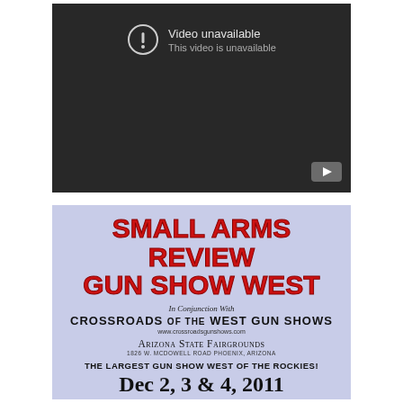[Figure (screenshot): YouTube video unavailable placeholder — dark background with exclamation icon, text 'Video unavailable' and 'This video is unavailable', YouTube logo in bottom-right corner.]
[Figure (photo): Advertisement for Small Arms Review Gun Show West in conjunction with Crossroads of the West Gun Shows at Arizona State Fairgrounds, 1826 W. McDowell Road Phoenix, Arizona. The Largest Gun Show West of the Rockies! Dec 2, 3 & 4, 2011. Open To The Public. Fri 12-5 Sat 9-5 Sun 9-4.]